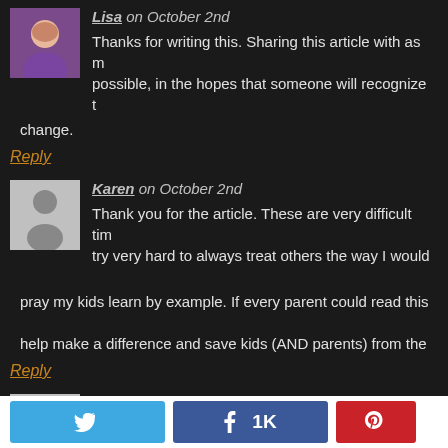Lisa on October 2nd — Thanks for writing this. Sharing this article with as many people as possible, in the hopes that someone will recognize the need to change.
Reply
Karen on October 2nd — Thank you for the article. These are very difficult times. I try very hard to always treat others the way I would want to be treated and pray my kids learn by example. If every parent could read this, it could help make a difference and save kids (AND parents) from the...
Reply
Christy on October 2nd — I have been on both sides of this. Both of my daughters were part of the "in" crowd at a younger age. I wasn't arranging playdates and didn't pay attention to the fact that they were seen by others as part of the mean crowd. These were just my daughter's friends...